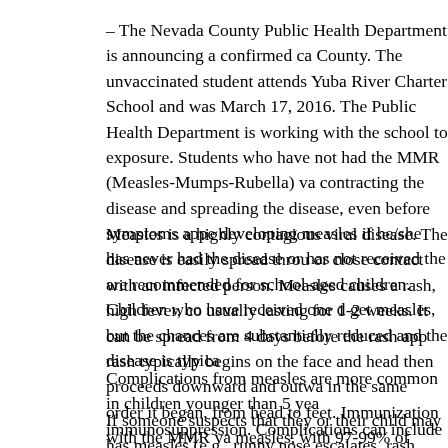– The Nevada County Public Health Department is announcing a confirmed ca County. The unvaccinated student attends Yuba River Charter School and was March 17, 2016. The Public Health Department is working with the school to exposure. Students who have not had the MMR (Measles-Mumps-Rubella) va contracting the disease and spreading the disease, even before symptoms appe developing measles if he/she has never had the disease or has not received the are recommended for school-aged children. Children who have received one d get measles, but the chances are substantially reduced and the disease is typica
Measles is a highly contagious viral disease. The disease is easily spread throu or close contact with an infected person. Measles causes a rash, high fever, co usually lasting for 1-2 weeks. It can be spread from 4 days before the rash app rash typically begins on the face and head then proceeds downward and outwa in the same order it began, from head to feet. Immunization with the MMR va measles, with 97-99% of persons developing immunity after two doses. Neva highest rates of unvaccinated students in California.
Complications from measles are more common in children younger than 5 yea immunosuppression. Complications can include diarrhea, ear infection and pr severe complications and the risk is higher among younger children and adults measles. Bed rest, fluids and control of fever are recommended. Persons with treatment for their specific problem.
If someone suspects that they or their child may has measles (e.g., runny nose escalates, rash, spots inside the mouth), they should contact their healthcare